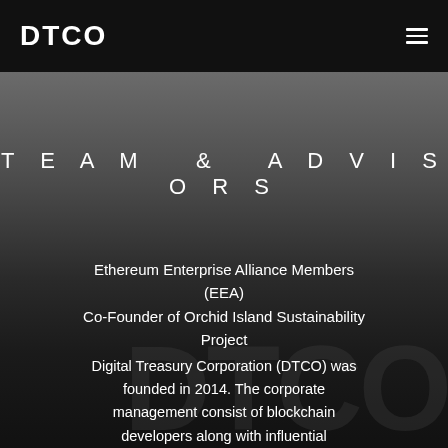DTCO
TEAM & ADVISORS
Ethereum Enterprise Alliance Members (EEA)
Co-Founder of Orchid Island Sustainability Project
Digital Treasury Corporation (DTCO) was founded in 2014. The corporate management consist of blockchain developers along with influential